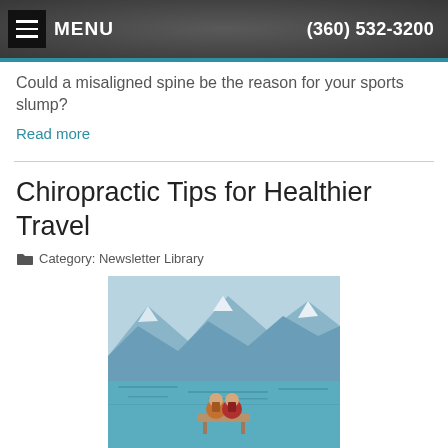MENU   (360) 532-3200
Could a misaligned spine be the reason for your sports slump?
Read more
Chiropractic Tips for Healthier Travel
Category: Newsletter Library
[Figure (photo): Two people sitting on a dock viewed from behind, looking at a turquoise mountain lake surrounded by snow-capped mountains]
Avoid travel-related aches and pains with these chiropractic tips.